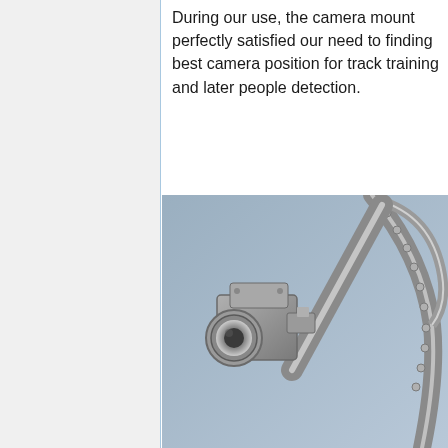During our use, the camera mount perfectly satisfied our need to finding best camera position for track training and later people detection.
[Figure (engineering-diagram): 3D CAD rendering of a camera mount assembly. A grey camera with a circular lens is mounted on an articulated arm attached to a curved rail with perforations/holes. The background is a muted steel-blue color. The mount allows rotational positioning of the camera.]